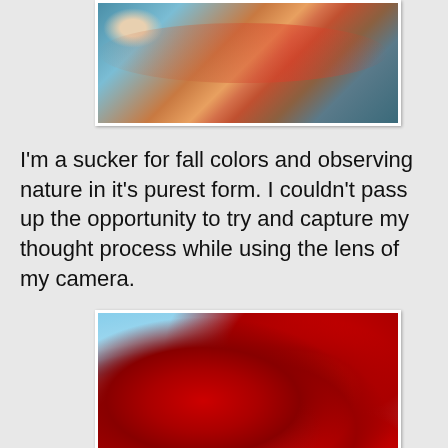[Figure (photo): Close-up photo of a fish being held, showing colorful scales with pink, red, teal and brown hues against a blurred background]
I'm a sucker for fall colors and observing nature in it's purest form. I couldn't pass up the opportunity to try and capture my thought process while using the lens of my camera.
[Figure (photo): Close-up photograph of vivid red autumn maple leaves on dark branches against a bright blue sky]
[Figure (photo): Photograph of bare winter trees with white/snowy branches against a light sky, partially visible at bottom of page]